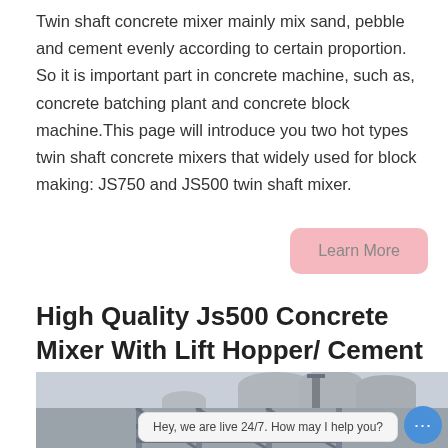Twin shaft concrete mixer mainly mix sand, pebble and cement evenly according to certain proportion. So it is important part in concrete machine, such as, concrete batching plant and concrete block machine.This page will introduce you two hot types twin shaft concrete mixers that widely used for block making: JS750 and JS500 twin shaft mixer.
[Figure (other): Pink rounded rectangle button labeled 'Learn More']
High Quality Js500 Concrete Mixer With Lift Hopper/ Cement
[Figure (photo): Photo of industrial concrete plant with multiple large cylindrical silos, scaffolding and structural framework, partially cut off at bottom of page. Contains a chat overlay bubble saying 'Hey, we are live 24/7. How may I help you?' and a blue chat icon with ellipsis.]